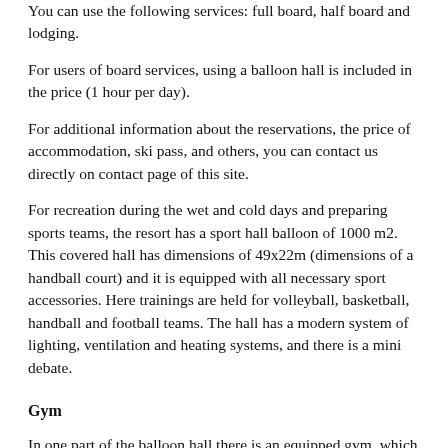You can use the following services: full board, half board and lodging.
For users of board services, using a balloon hall is included in the price (1 hour per day).
For additional information about the reservations, the price of accommodation, ski pass, and others, you can contact us directly on contact page of this site.
For recreation during the wet and cold days and preparing sports teams, the resort has a sport hall balloon of 1000 m2. This covered hall has dimensions of 49x22m (dimensions of a handball court) and it is equipped with all necessary sport accessories. Here trainings are held for volleyball, basketball, handball and football teams. The hall has a modern system of lighting, ventilation and heating systems, and there is a mini debate.
Gym
In one part of the balloon hall there is an equipped gym, which is available for all guests of childrens resort.